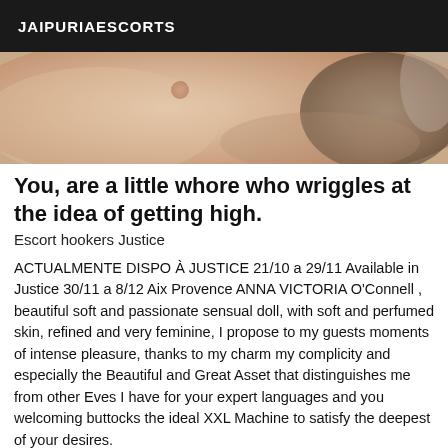JAIPURIAESCORTS
[Figure (photo): Close-up photo of skin/body area with soft lighting]
You, are a little whore who wriggles at the idea of getting high.
Escort hookers Justice
ACTUALMENTE DISPO À JUSTICE 21/10 a 29/11 Available in Justice 30/11 a 8/12 Aix Provence ANNA VICTORIA O'Connell , beautiful soft and passionate sensual doll, with soft and perfumed skin, refined and very feminine, I propose to my guests moments of intense pleasure, thanks to my charm my complicity and especially the Beautiful and Great Asset that distinguishes me from other Eves I have for your expert languages and you welcoming buttocks the ideal XXL Machine to satisfy the deepest of your desires.